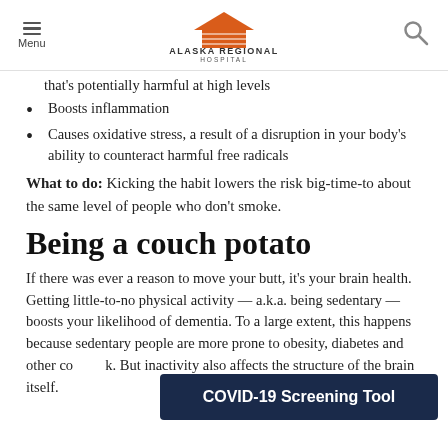Menu | Alaska Regional Hospital
that's potentially harmful at high levels
Boosts inflammation
Causes oxidative stress, a result of a disruption in your body's ability to counteract harmful free radicals
What to do: Kicking the habit lowers the risk big-time-to about the same level of people who don't smoke.
Being a couch potato
If there was ever a reason to move your butt, it's your brain health. Getting little-to-no physical activity — a.k.a. being sedentary — boosts your likelihood of dementia. To a large extent, this happens because sedentary people are more prone to obesity, diabetes and other co...k. But inactivity also affects the structure of the brain itself.
COVID-19 Screening Tool